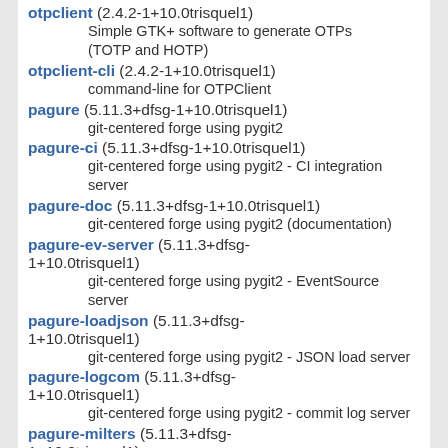otpclient (2.4.2-1+10.0trisquel1)
  Simple GTK+ software to generate OTPs (TOTP and HOTP)
otpclient-cli (2.4.2-1+10.0trisquel1)
  command-line for OTPClient
pagure (5.11.3+dfsg-1+10.0trisquel1)
  git-centered forge using pygit2
pagure-ci (5.11.3+dfsg-1+10.0trisquel1)
  git-centered forge using pygit2 - CI integration server
pagure-doc (5.11.3+dfsg-1+10.0trisquel1)
  git-centered forge using pygit2 (documentation)
pagure-ev-server (5.11.3+dfsg-1+10.0trisquel1)
  git-centered forge using pygit2 - EventSource server
pagure-loadjson (5.11.3+dfsg-1+10.0trisquel1)
  git-centered forge using pygit2 - JSON load server
pagure-logcom (5.11.3+dfsg-1+10.0trisquel1)
  git-centered forge using pygit2 - commit log server
pagure-milters (5.11.3+dfsg-1+10.0trisquel1)
  git-centered forge using pygit2 - milters (mail filters)